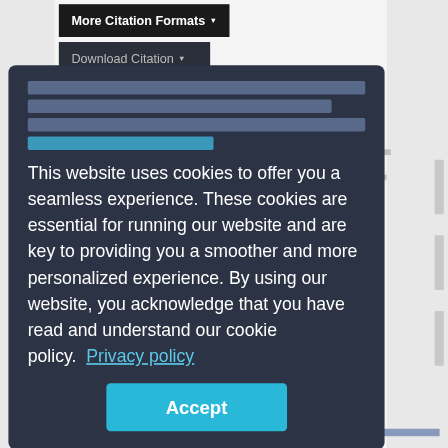[Figure (screenshot): Dropdown button 'More Citation Formats' with dark background]
[Figure (screenshot): Dropdown button 'Download Citation' with dark background]
[non-latin script text block with link]
This website uses cookies to offer you a seamless experience. These cookies are essential for running our website and are key to providing you a smoother and more personalized experience. By using our website, you acknowledge that you have read and understand our cookie policy.  Privacy policy
[Figure (screenshot): Accept button (teal/cyan) in cookie consent modal]
Attribution-NonCommercial-NoD